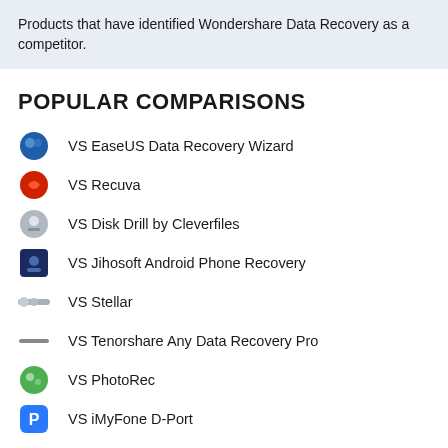Products that have identified Wondershare Data Recovery as a competitor.
POPULAR COMPARISONS
VS EaseUS Data Recovery Wizard
VS Recuva
VS Disk Drill by Cleverfiles
VS Jihosoft Android Phone Recovery
VS Stellar
VS Tenorshare Any Data Recovery Pro
VS PhotoRec
VS iMyFone D-Port
VS RStudio
VS Wondershare Recoverit
VS MiniTool Power Data Recovery